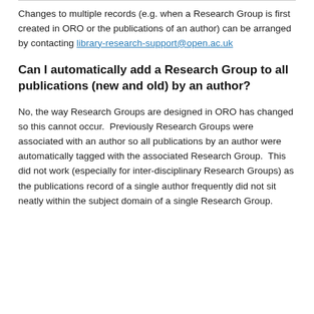Changes to multiple records (e.g. when a Research Group is first created in ORO or the publications of an author) can be arranged by contacting library-research-support@open.ac.uk
Can I automatically add a Research Group to all publications (new and old) by an author?
No, the way Research Groups are designed in ORO has changed so this cannot occur. Previously Research Groups were associated with an author so all publications by an author were automatically tagged with the associated Research Group. This did not work (especially for inter-disciplinary Research Groups) as the publications record of a single author frequently did not sit neatly within the subject domain of a single Research Group.